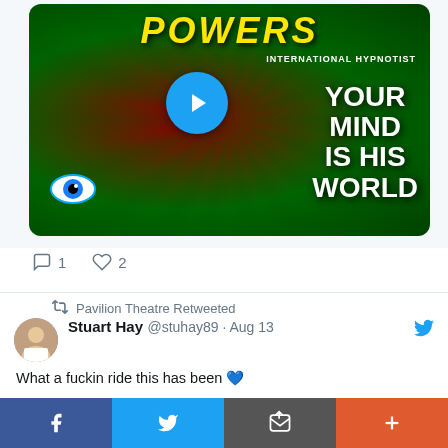[Figure (screenshot): Promotional image for 'Powers International Hypnotist' show with text 'YOUR MIND IS HIS WORLD', play button overlay, and green/red swirl background]
1  2
Pavilion Theatre Retweeted
Stuart Hay @stuhay89 · Aug 13
What a fuckin ride this has been 💙
...loud as fireworks go off beside you and the crowd are screaming! Literally got to live a wee rock star life for the past month!

To the cast I shared the stage with each night, I can't begin to describe you all either. The kinde
[Figure (screenshot): Bottom navigation bar with Facebook, Twitter, share, and plus icons]